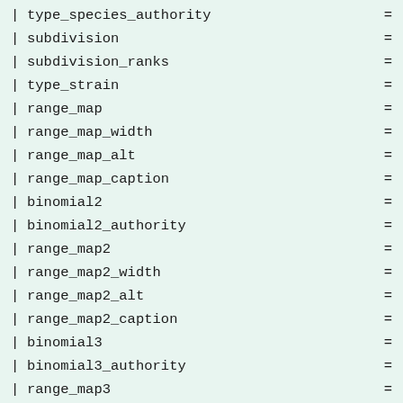| type_species_authority   =
| subdivision              =
| subdivision_ranks        =
| type_strain              =
| range_map                =
| range_map_width          =
| range_map_alt            =
| range_map_caption        =
| binomial2                =
| binomial2_authority      =
| range_map2               =
| range_map2_width         =
| range_map2_alt           =
| range_map2_caption       =
| binomial3                =
| binomial3_authority      =
| range_map3               =